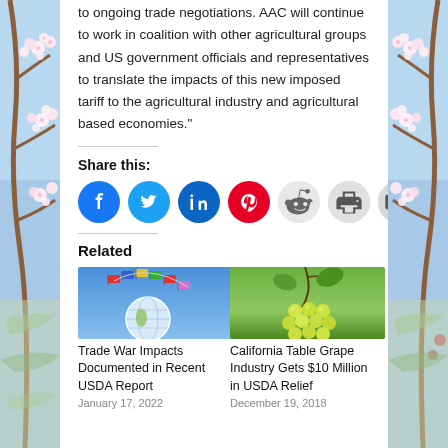to ongoing trade negotiations. AAC will continue to work in coalition with other agricultural groups and US government officials and representatives to translate the impacts of this new imposed tariff to the agricultural industry and agricultural based economies."
Share this:
[Figure (infographic): Social share icons: Facebook (blue circle), Twitter (light blue circle), LinkedIn (dark blue circle), Pinterest (red circle), Reddit (light grey circle), Print (light grey circle), Email (light grey circle)]
Related
[Figure (photo): Globe with international flags arranged in an arc above it, on blue background — Trade War article thumbnail]
Trade War Impacts Documented in Recent USDA Report
January 17, 2022
[Figure (photo): Cluster of green/yellow grapes on vine — California Table Grape article thumbnail]
California Table Grape Industry Gets $10 Million in USDA Relief
December 19, 2018